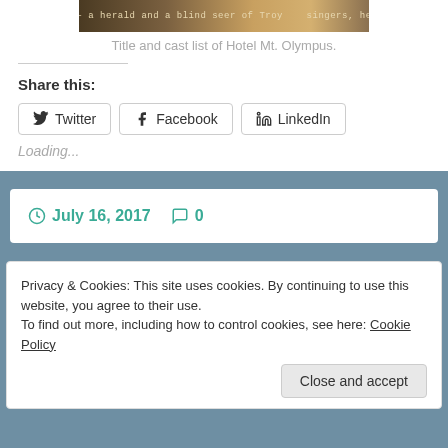[Figure (photo): Partial image showing text: 'ms - a herald and a blind seer of Troy ... singers, heard']
Title and cast list of Hotel Mt. Olympus.
Share this:
Twitter   Facebook   LinkedIn
Loading...
July 16, 2017   0
Privacy & Cookies: This site uses cookies. By continuing to use this website, you agree to their use.
To find out more, including how to control cookies, see here: Cookie Policy
Close and accept